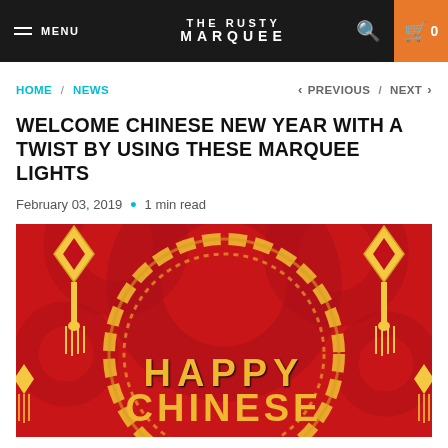THE RUSTY MARQUEE — MENU / Search / Cart 0
HOME / NEWS   < PREVIOUS / NEXT >
WELCOME CHINESE NEW YEAR WITH A TWIST BY USING THESE MARQUEE LIGHTS
February 03, 2019 • 1 min read
[Figure (illustration): Red Chinese New Year themed illustration with gold ornamental decorations, circular chain border, and marquee-style text reading HAPPY CHINESE (partially shown)]